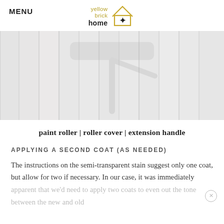MENU
[Figure (logo): Yellow Brick Home logo with house outline and star icon]
[Figure (photo): Whitewashed wooden planks being painted with a paint roller, light gray and white tones]
paint roller | roller cover | extension handle
APPLYING A SECOND COAT (AS NEEDED)
The instructions on the semi-transparent stain suggest only one coat, but allow for two if necessary. In our case, it was immediately apparent that we'd need to apply two coats to even out the tone between the new and old